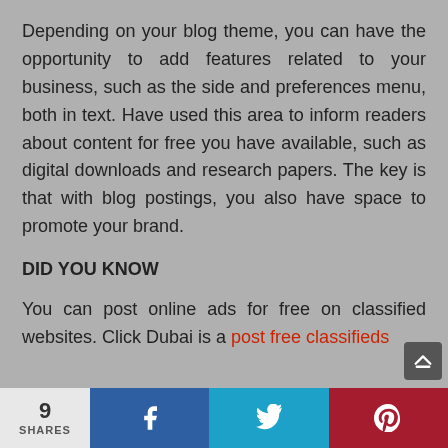Depending on your blog theme, you can have the opportunity to add features related to your business, such as the side and preferences menu, both in text. Have used this area to inform readers about content for free you have available, such as digital downloads and research papers. The key is that with blog postings, you also have space to promote your brand.
DID YOU KNOW
You can post online ads for free on classified websites. Click Dubai is a post free classifieds
9 SHARES